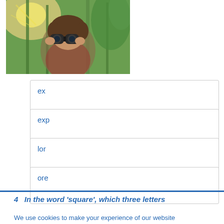[Figure (photo): A child looking through binoculars, surrounded by green plants and sunlight]
ex
exp
lor
ore
4   In the word 'square', which three letters
We use cookies to make your experience of our website